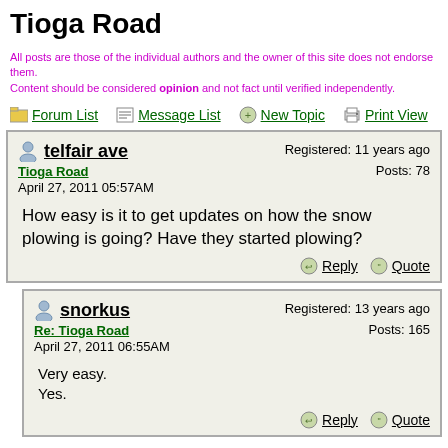Tioga Road
All posts are those of the individual authors and the owner of this site does not endorse them. Content should be considered opinion and not fact until verified independently.
Forum List  Message List  New Topic  Print View
telfair ave
Tioga Road
April 27, 2011 05:57AM
Registered: 11 years ago
Posts: 78

How easy is it to get updates on how the snow plowing is going? Have they started plowing?
Reply  Quote
snorkus
Re: Tioga Road
April 27, 2011 06:55AM
Registered: 13 years ago
Posts: 165

Very easy.
Yes.
Reply  Quote